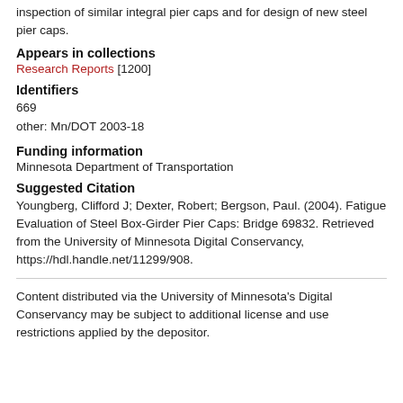inspection of similar integral pier caps and for design of new steel pier caps.
Appears in collections
Research Reports [1200]
Identifiers
669
other: Mn/DOT 2003-18
Funding information
Minnesota Department of Transportation
Suggested Citation
Youngberg, Clifford J; Dexter, Robert; Bergson, Paul. (2004). Fatigue Evaluation of Steel Box-Girder Pier Caps: Bridge 69832. Retrieved from the University of Minnesota Digital Conservancy, https://hdl.handle.net/11299/908.
Content distributed via the University of Minnesota's Digital Conservancy may be subject to additional license and use restrictions applied by the depositor.